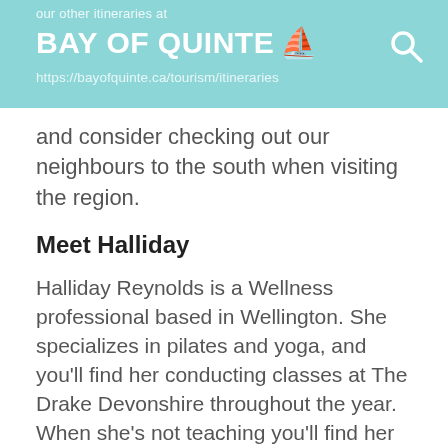our other itineraries at BAY OF QUINTE [sailboat icon] https://bayofquinte.ca/tourism/itineraries
and consider checking out our neighbours to the south when visiting the region.
Meet Halliday
Halliday Reynolds is a Wellness professional based in Wellington. She specializes in pilates and yoga, and you'll find her conducting classes at The Drake Devonshire throughout the year. When she's not teaching you'll find her chasing after her daughter on the region's world-class beaches.
This lovely little illustration of Halliday you see here was made especially for this blog by the